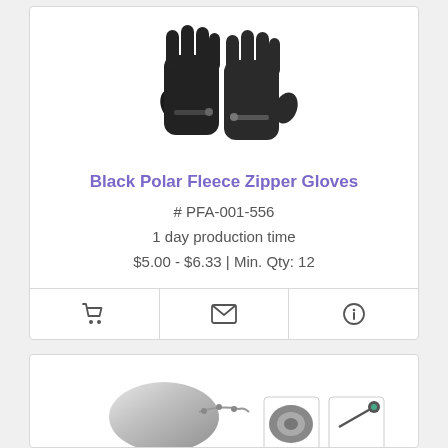[Figure (photo): Black polar fleece gloves product photo on white background]
Black Polar Fleece Zipper Gloves
# PFA-001-556
1 day production time
$5.00 - $6.33 | Min. Qty: 12
[Figure (photo): Metallic silver product (partial view) with thumbnail images]